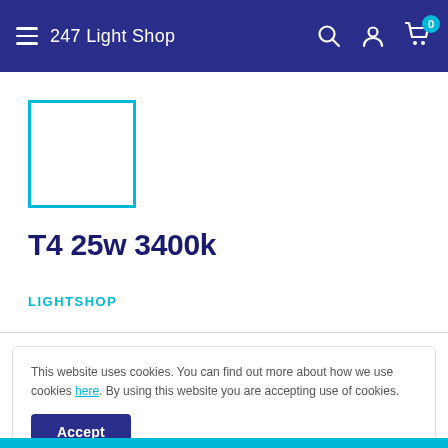247 Light Shop
[Figure (other): Product image placeholder — cyan outlined square with white interior]
T4 25w 3400k
LIGHTSHOP
This website uses cookies. You can find out more about how we use cookies here. By using this website you are accepting use of cookies.
Accept